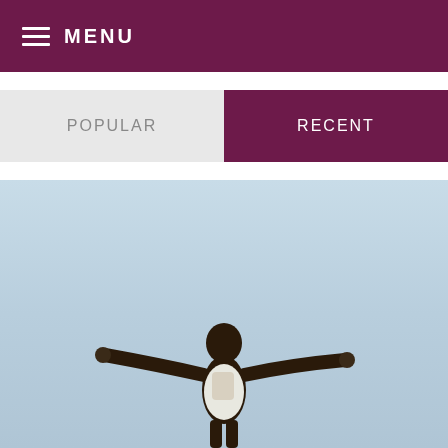MENU
POPULAR
RECENT
[Figure (photo): Person seen from behind with arms outstretched wide, wearing a white t-shirt and backpack, against a light blue sky background]